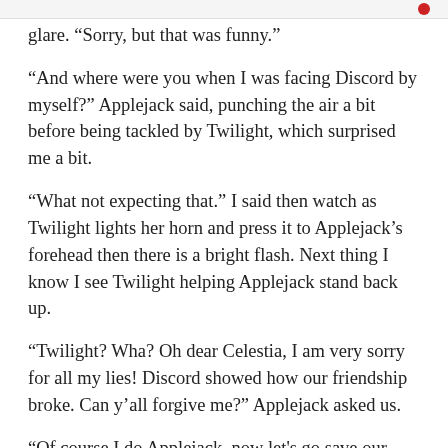glare. “Sorry, but that was funny.”
“And where were you when I was facing Discord by myself?” Applejack said, punching the air a bit before being tackled by Twilight, which surprised me a bit.
“What not expecting that.” I said then watch as Twilight lights her horn and press it to Applejack’s forehead then there is a bright flash. Next thing I know I see Twilight helping Applejack stand back up.
“Twilight? Wha? Oh dear Celestia, I am very sorry for all my lies! Discord showed how our friendship broke. Can y’all forgive me?” Applejack asked us.
“Of course I do Applejack, now let’s go save our friends!” Twilight said and Rarity nods and the three of